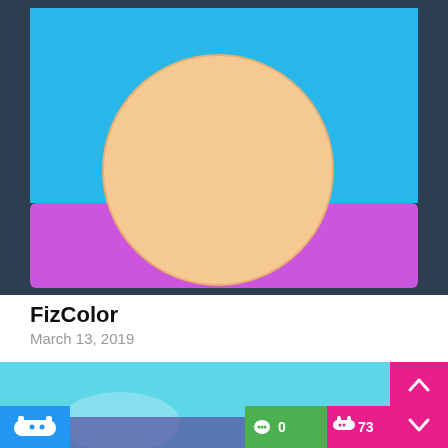[Figure (screenshot): Game screenshot showing a cartoon character (round peach-colored head) against a blue background, with a purple/magenta color bar below. Dark blue border on the sides.]
FizColor
March 13, 2019
Join FizColor! Tap the correct color bar on the screen to reply the color resquest as fast as possible within a second. Minimalist graphics and challenging gameplay design.
[Figure (screenshot): Bottom strip showing another game screenshot with a controller icon button (blue), comment count button (green, 0 comments), and play count button (pink, 73 plays), plus a scroll up/down arrow button (pink).]